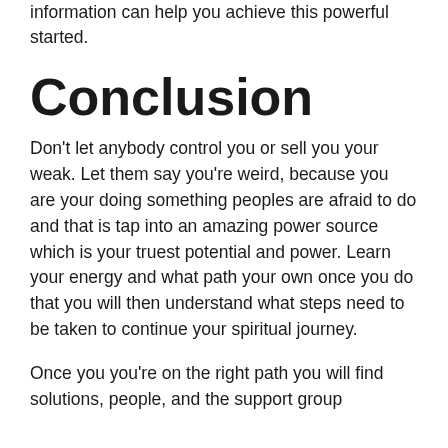information can help you achieve this powerful started.
Conclusion
Don't let anybody control you or sell you your weak. Let them say you're weird, because you are your doing something peoples are afraid to do and that is tap into an amazing power source which is your truest potential and power. Learn your energy and what path your own once you do that you will then understand what steps need to be taken to continue your spiritual journey.
Once you you're on the right path you will find solutions, people, and the support group